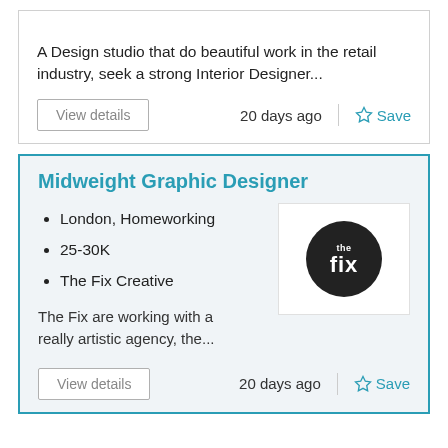A Design studio that do beautiful work in the retail industry, seek a strong Interior Designer...
20 days ago
Save
Midweight Graphic Designer
London, Homeworking
25-30K
The Fix Creative
[Figure (logo): The Fix Creative logo - circular black badge with 'the fix' text in white]
The Fix are working with a really artistic agency, the...
20 days ago
Save